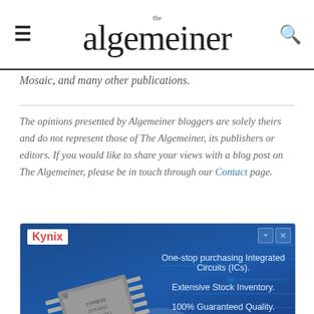the algemeiner
Mosaic, and many other publications.
The opinions presented by Algemeiner bloggers are solely theirs and do not represent those of The Algemeiner, its publishers or editors. If you would like to share your views with a blog post on The Algemeiner, please be in touch through our Contact page.
[Figure (screenshot): Kynix advertisement for Integrated Circuits Supplier with blue circuit board background, IC chip image, and text: One-stop purchasing Integrated Circuits (ICs). Extensive Stock Inventory. 100% Guaranteed Quality. Bottom shows Integrated Circuits Supplier title and Get Quote button.]